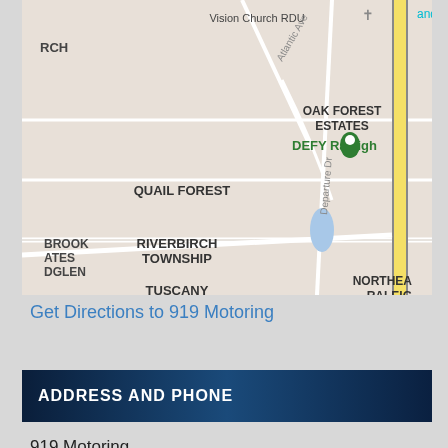[Figure (map): Google Maps screenshot showing area around DEFY Raleigh on Departure Dr, with neighborhood labels including Quail Forest, Riverbirch Township, Tuscany Townhomes, Millbrook, Oak Forest Estates, Northeast Raleigh, and nearby businesses Hibachi China Buffet and Vision Church RDU. E Millbrook Rd visible at bottom.]
Get Directions to 919 Motoring
ADDRESS AND PHONE
919 Motoring
5540 Atlantic Springs Road
Suite 109,